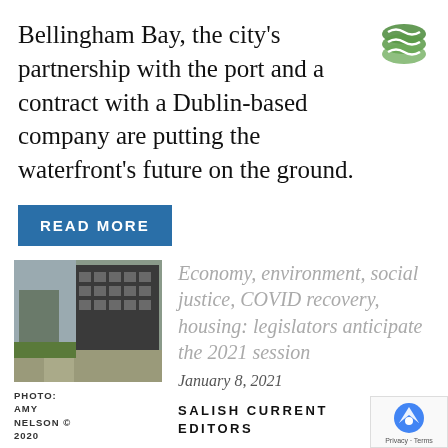Bellingham Bay, the city’s partnership with the port and a contract with a Dublin-based company are putting the waterfront’s future on the ground.
READ MORE
[Figure (photo): Exterior photo of a modern building with walkway and landscaping]
PHOTO: AMY NELSON © 2020
Economy, environment, social justice, COVID recovery, housing: legislators anticipate the 2021 session
January 8, 2021
SALISH CURRENT EDITORS
Salish Current asked 40th and